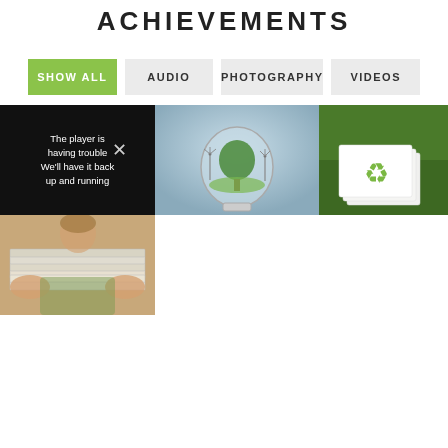ACHIEVEMENTS
SHOW ALL
AUDIO
PHOTOGRAPHY
VIDEOS
[Figure (screenshot): Black background panel showing error message: 'The player is having trouble. We'll have it back up and running']
[Figure (photo): Creative photo of a glass light bulb with a tree and wind turbines inside, representing green energy]
[Figure (photo): Recycling symbol on white papers stacked on green grass]
[Figure (photo): Person holding a stack of newspapers for recycling]